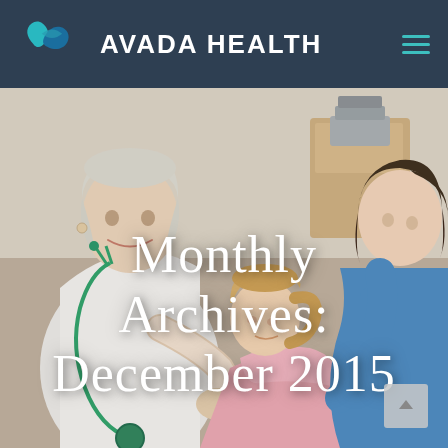AVADA HEALTH
[Figure (photo): Medical scene showing an elderly female doctor with white hair and stethoscope examining a young child in a pink outfit, with the mother in a blue top leaning in. Medical equipment visible in background. Hero banner image for Avada Health website.]
Monthly Archives: December 2015